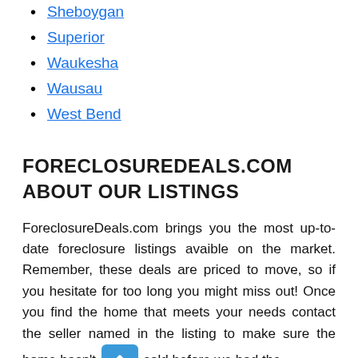Sheboygan
Superior
Waukesha
Wausau
West Bend
FORECLOSUREDEALS.COM ABOUT OUR LISTINGS
ForeclosureDeals.com brings you the most up-to-date foreclosure listings avaible on the market. Remember, these deals are priced to move, so if you hesitate for too long you might miss out! Once you find the home that meets your needs contact the seller named in the listing to make sure the home hasn't [scroll button] sold before we had the